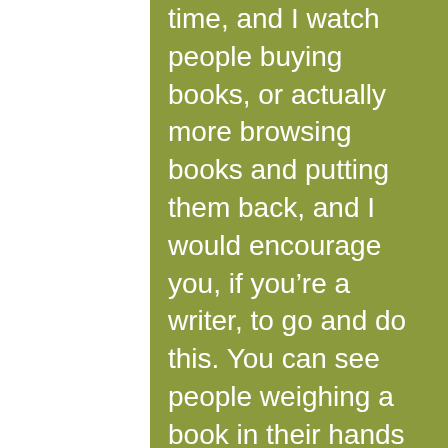time, and I watch people buying books, or actually more browsing books and putting them back, and I would encourage you, if you're a writer, to go and do this. You can see people weighing a book in their hands nowadays… They flick through the first few pages, they look at the cover, and then they think,